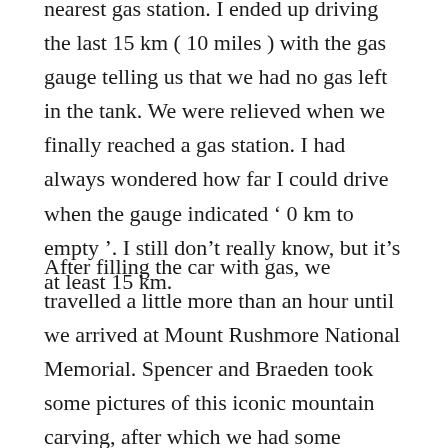nearest gas station. I ended up driving the last 15 km ( 10 miles ) with the gas gauge telling us that we had no gas left in the tank. We were relieved when we finally reached a gas station. I had always wondered how far I could drive when the gauge indicated ‘ 0 km to empty ’. I still don’t really know, but it’s at least 15 km.
After filling the car with gas, we travelled a little more than an hour until we arrived at Mount Rushmore National Memorial. Spencer and Braeden took some pictures of this iconic mountain carving, after which we had some supper at the adjacent restaurant and then drove to the KOA campground a short distance away.
We checked in, set up our tents in the dark, as usual and then the young lads took showers while I went to the registration area to charge my laptop and phone. While I